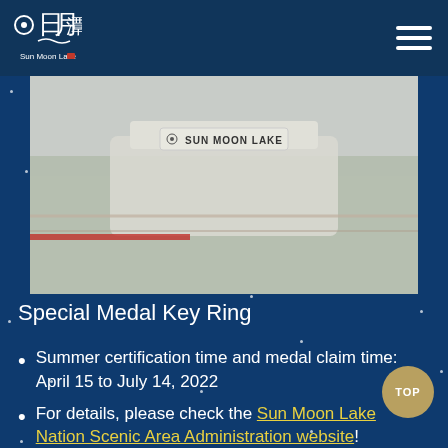Sun Moon Lake
[Figure (photo): Close-up photo of a Sun Moon Lake sign/signboard attached to a structure, with blurred background showing outdoor scenery.]
Special Medal Key Ring
Summer certification time and medal claim time: April 15 to July 14, 2022
For details, please check the Sun Moon Lake Nation Scenic Area Administration website!